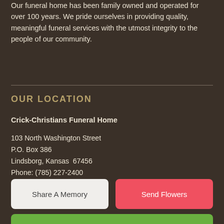Our funeral home has been family owned and operated for over 100 years. We pride ourselves in providing quality, meaningful funeral services with the utmost integrity to the people of our community.
OUR LOCATION
Crick-Christians Funeral Home
103 North Washington Street
P.O. Box 386
Lindsborg, Kansas  67456
Phone: (785) 227-2400
Share A Memory
Send Flowers
Plant A Tree